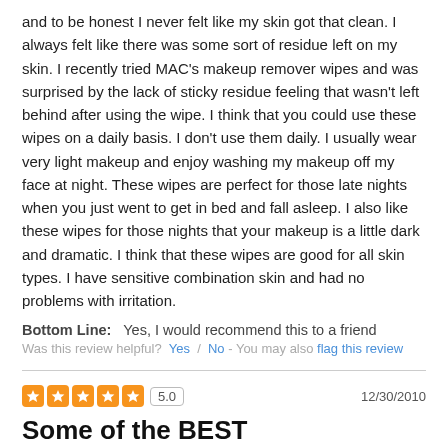and to be honest I never felt like my skin got that clean. I always felt like there was some sort of residue left on my skin. I recently tried MAC's makeup remover wipes and was surprised by the lack of sticky residue feeling that wasn't left behind after using the wipe. I think that you could use these wipes on a daily basis. I don't use them daily. I usually wear very light makeup and enjoy washing my makeup off my face at night. These wipes are perfect for those late nights when you just went to get in bed and fall asleep. I also like these wipes for those nights that your makeup is a little dark and dramatic. I think that these wipes are good for all skin types. I have sensitive combination skin and had no problems with irritation.
Bottom Line: Yes, I would recommend this to a friend
Was this review helpful? Yes / No - You may also flag this review
[Figure (other): 5-star rating display with orange star icons, score box showing 5.0, and date 12/30/2010]
Some of the BEST
By  jmknow